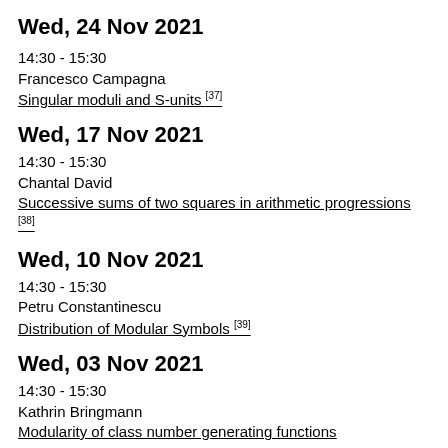Wed, 24 Nov 2021
14:30 - 15:30
Francesco Campagna
Singular moduli and S-units [37]
Wed, 17 Nov 2021
14:30 - 15:30
Chantal David
Successive sums of two squares in arithmetic progressions [38]
Wed, 10 Nov 2021
14:30 - 15:30
Petru Constantinescu
Distribution of Modular Symbols [39]
Wed, 03 Nov 2021
14:30 - 15:30
Kathrin Bringmann
Modularity of class number generating functions